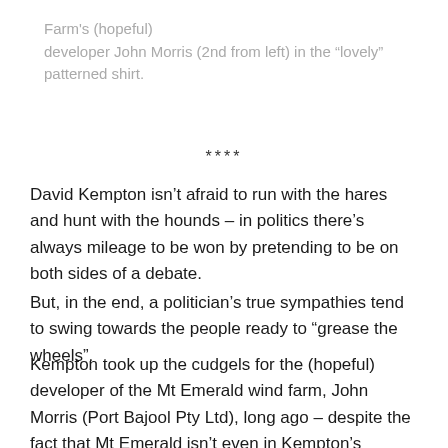Farm's (hopeful) developer John Morris (2nd from left) in the “lovely” patterned shirt.
****
David Kempton isn’t afraid to run with the hares and hunt with the hounds – in politics there’s always mileage to be won by pretending to be on both sides of a debate.
But, in the end, a politician’s true sympathies tend to swing towards the people ready to “grease the wheels”.
Kempton took up the cudgels for the (hopeful) developer of the Mt Emerald wind farm, John Morris (Port Bajool Pty Ltd), long ago – despite the fact that Mt Emerald isn’t even in Kempton’s electorate. Talk about going above and beyond the call of “duty”.